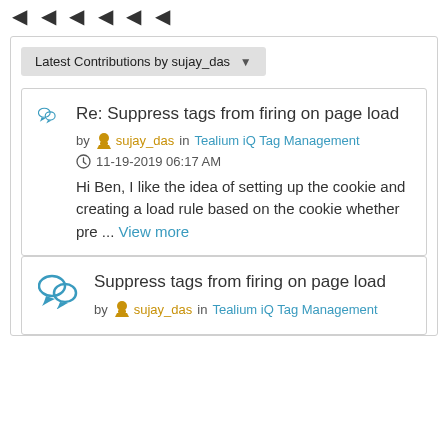◀ ◀ ◀ ◀ ◀ ◀
Latest Contributions by sujay_das ▼
Re: Suppress tags from firing on page load
by sujay_das in Tealium iQ Tag Management
11-19-2019 06:17 AM
Hi Ben, I like the idea of setting up the cookie and creating a load rule based on the cookie whether pre ... View more
Suppress tags from firing on page load
by sujay_das in Tealium iQ Tag Management